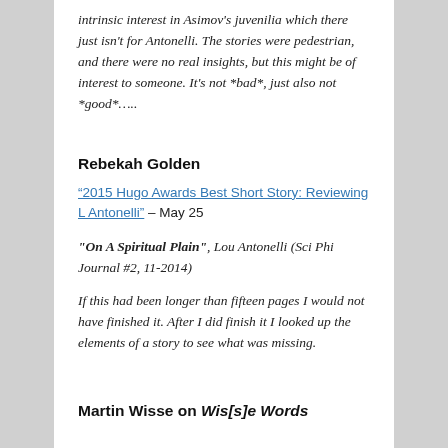intrinsic interest in Asimov's juvenilia which there just isn't for Antonelli. The stories were pedestrian, and there were no real insights, but this might be of interest to someone. It's not *bad*, just also not *good*…..
Rebekah Golden
“2015 Hugo Awards Best Short Story: Reviewing L Antonelli” – May 25
“On A Spiritual Plain”, Lou Antonelli (Sci Phi Journal #2, 11-2014)
If this had been longer than fifteen pages I would not have finished it. After I did finish it I looked up the elements of a story to see what was missing.
Martin Wisse on Wis[s]e Words